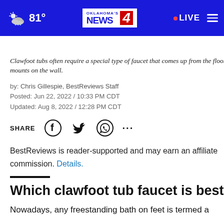81° | Oklahoma's News 4 | LIVE
Clawfoot tubs often require a special type of faucet that comes up from the floor or mounts on the wall.
by: Chris Gillespie, BestReviews Staff
Posted: Jun 22, 2022 / 10:33 PM CDT
Updated: Aug 8, 2022 / 12:28 PM CDT
SHARE
BestReviews is reader-supported and may earn an affiliate commission. Details.
Which clawfoot tub faucet is best?
Nowadays, any freestanding bath on feet is termed a